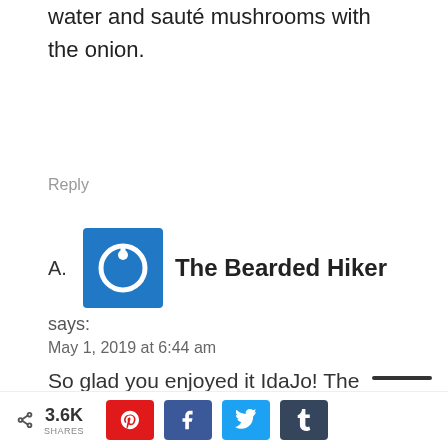water and sauté mushrooms with the onion.
Reply
A. The Bearded Hiker says:
May 1, 2019 at 6:44 am
So glad you enjoyed it IdaJo! The pressure cooker definitely turns into tender
3.6K SHARES